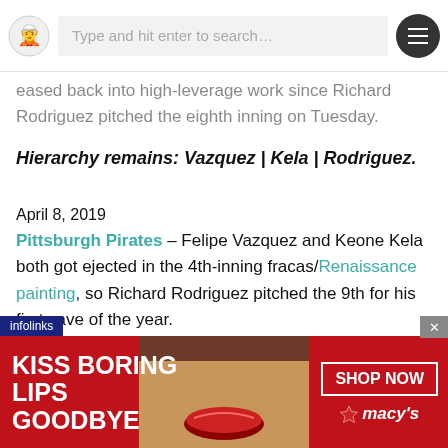Type and hit enter to search...
eased back into high-leverage work since Richard Rodriguez pitched the eighth inning on Tuesday.
Hierarchy remains: Vazquez | Kela | Rodriguez.
April 8, 2019
Pittsburgh Pirates – Felipe Vazquez and Keone Kela both got ejected in the 4th-inning fracas/Renaissance painting, so Richard Rodriguez pitched the 9th for his first save of the year.
Hierarchy remains: Vazquez | Kela | Rodriguez.
[Figure (other): Macy's advertisement banner: KISS BORING LIPS GOODBYE with SHOP NOW button and Macy's star logo]